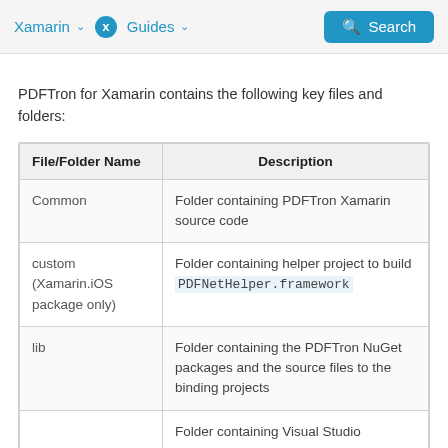Xamarin   Guides   Search
PDFTron for Xamarin contains the following key files and folders:
| File/Folder Name | Description |
| --- | --- |
| Common | Folder containing PDFTron Xamarin source code |
| custom (Xamarin.iOS package only) | Folder containing helper project to build PDFNetHelper.framework |
| lib | Folder containing the PDFTron NuGet packages and the source files to the binding projects |
|  | Folder containing Visual Studio |